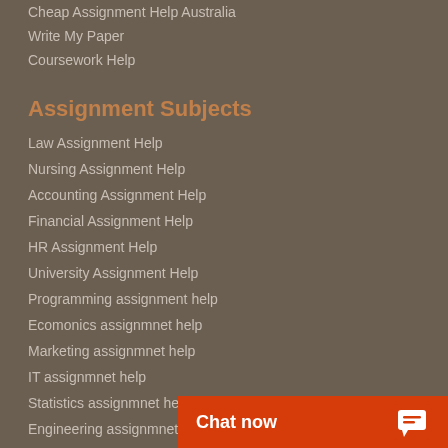Cheap Assignment Help Australia
Write My Paper
Coursework Help
Assignment Subjects
Law Assignment Help
Nursing Assignment Help
Accounting Assignment Help
Financial Assignment Help
HR Assignment Help
University Assignment Help
Programming assignment help
Ecomonics assignmnet help
Marketing assignmnet help
IT assignmnet help
Statistics assignmnet help
Engineering assignmnet help